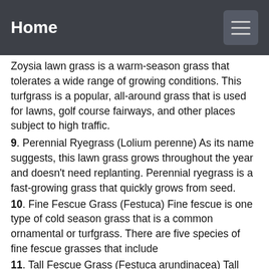Home
Zoysia lawn grass is a warm-season grass that tolerates a wide range of growing conditions. This turfgrass is a popular, all-around grass that is used for lawns, golf course fairways, and other places subject to high traffic.
9. Perennial Ryegrass (Lolium perenne) As its name suggests, this lawn grass grows throughout the year and doesn't need replanting. Perennial ryegrass is a fast-growing grass that quickly grows from seed.
10. Fine Fescue Grass (Festuca) Fine fescue is one type of cold season grass that is a common ornamental or turfgrass. There are five species of fine fescue grasses that include
11. Tall Fescue Grass (Festuca arundinacea) Tall fescue grass is a cool-season perennial lawn grass that grows in a wide range of conditions. Because tall fescue grass tolerates heat, cold, drought, and shade, it is suitable for